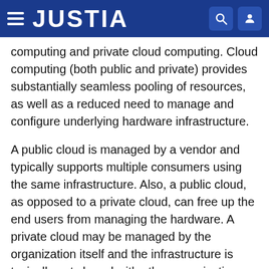JUSTIA
computing and private cloud computing. Cloud computing (both public and private) provides substantially seamless pooling of resources, as well as a reduced need to manage and configure underlying hardware infrastructure.
A public cloud is managed by a vendor and typically supports multiple consumers using the same infrastructure. Also, a public cloud, as opposed to a private cloud, can free up the end users from managing the hardware. A private cloud may be managed by the organization itself and the infrastructure is typically not shared with other organizations. The organization still maintains the hardware to some extent, such as installations and repairs, etc.
In the example shown in FIG. 7, some items are similar to those shown in FIG. 1 and they are similarly numbered